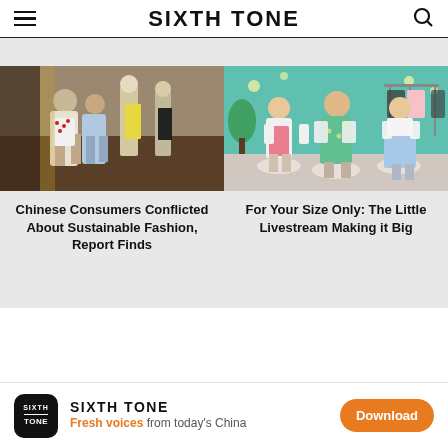SIXTH TONE
[Figure (photo): Two women looking at mannequins in a clothing store with yellow and dark dresses on display]
[Figure (photo): Three plus-size women posing in colorful floral dresses in a livestream studio setting with clothes racks behind them]
Chinese Consumers Conflicted About Sustainable Fashion, Report Finds
For Your Size Only: The Little Livestream Making it Big
SIXTH TONE — Fresh voices from today's China — Download